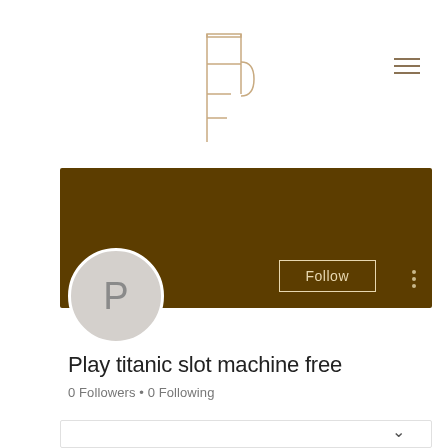[Figure (logo): TCF monogram logo in tan/gold outline style]
[Figure (screenshot): Social media profile page with dark brown banner, profile avatar circle with letter P, Follow button, three-dot menu, profile name 'Play titanic slot machine free', follower stats '0 Followers • 0 Following', and a partially visible card at the bottom with chevron]
Play titanic slot machine free
0 Followers • 0 Following